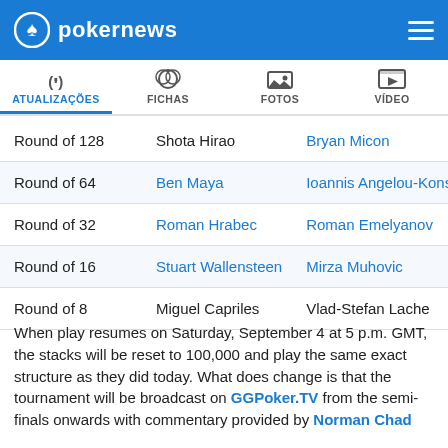pokernews
| Round | Player 1 | Player 2 |
| --- | --- | --- |
| Round of 128 | Shota Hirao | Bryan Micon |
| Round of 64 | Ben Maya | Ioannis Angelou-Konsta |
| Round of 32 | Roman Hrabec | Roman Emelyanov |
| Round of 16 | Stuart Wallensteen | Mirza Muhovic |
| Round of 8 | Miguel Capriles | Vlad-Stefan Lache |
When play resumes on Saturday, September 4 at 5 p.m. GMT, the stacks will be reset to 100,000 and play the same exact structure as they did today. What does change is that the tournament will be broadcast on GGPoker.TV from the semi-finals onwards with commentary provided by Norman Chad